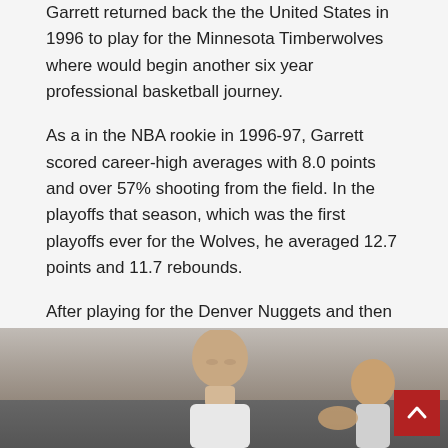Garrett returned back the the United States in 1996 to play for the Minnesota Timberwolves where would begin another six year professional basketball journey.
As a in the NBA rookie in 1996-97, Garrett scored career-high averages with 8.0 points and over 57% shooting from the field. In the playoffs that season, which was the first playoffs ever for the Wolves, he averaged 12.7 points and 11.7 rebounds.
After playing for the Denver Nuggets and then returning back to Minnesota, Garret retired from professional basketball after his final short stint with the Golden State Warriors in 2002.
[Figure (photo): A photograph showing basketball players, one with a shaved head visible from mid-frame down, with a crowd/arena background visible. A red scroll-to-top button overlays the bottom-right corner.]